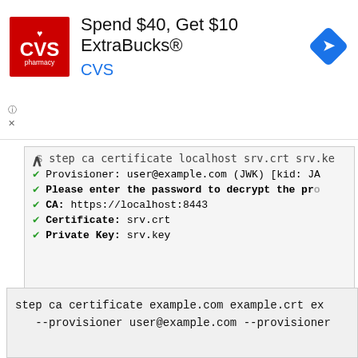[Figure (screenshot): CVS Pharmacy advertisement banner: 'Spend $40, Get $10 ExtraBucks® CVS' with CVS logo and navigation icon]
[Figure (screenshot): Terminal output showing step ca certificate command with provisioner info, green checkmarks for Provisioner, password prompt, CA, Certificate, and Private Key fields]
ขอให้ระบุ --provisioner และ --provisioner-password ระบุชื่อ user@example.com ซึ่งเป็น step ca init เป็น first provisioner ที่ตั้งไว้
[Figure (screenshot): Code block showing: step ca certificate example.com example.crt ex... --provisioner user@example.com --provisioner]